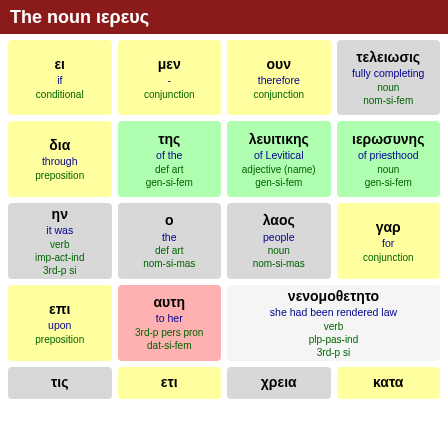The noun ιερευς
| ει
if
conditional | μεν
-
conjunction | ουν
therefore
conjunction | τελειωσις
fully completing
noun
nom-si-fem |
| δια
through
preposition | της
of the
def art
gen-si-fem | λευιτικης
of Levitical
adjective (name)
gen-si-fem | ιερωσυνης
of priesthood
noun
gen-si-fem |
| ην
it was
verb
imp-act-ind
3rd-p si | ο
the
def art
nom-si-mas | λαος
people
noun
nom-si-mas | γαρ
for
conjunction |
| επι
upon
preposition | αυτη
to her
3rd-p pers pron
dat-si-fem | νενομοθετητο
she had been rendered law
verb
plp-pas-ind
3rd-p si |  |
| τις | ετι | χρεια | κατα |